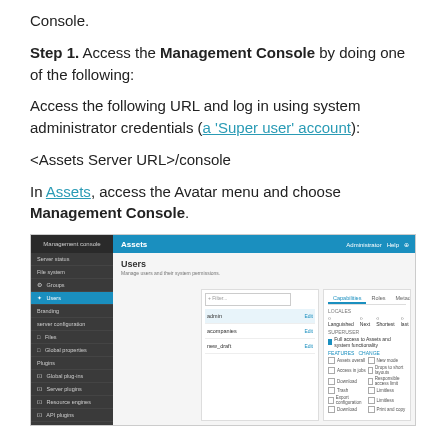Console.
Step 1. Access the Management Console by doing one of the following:
Access the following URL and log in using system administrator credentials (a 'Super user' account):
<Assets Server URL>/console
In Assets, access the Avatar menu and choose Management Console.
[Figure (screenshot): Screenshot of the Management Console showing the Users section with a sidebar navigation, a list of users (admin, acompanies, new_draft), and a detail panel with Capabilities, Roles, and Metadata tabs, showing Superuser access options and permission checkboxes.]